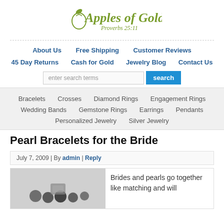[Figure (logo): Apples of Gold logo with apple icon, italic script text and Proverbs 25:11 subtitle]
About Us | Free Shipping | Customer Reviews | 45 Day Returns | Cash for Gold | Jewelry Blog | Contact Us
Bracelets | Crosses | Diamond Rings | Engagement Rings | Wedding Bands | Gemstone Rings | Earrings | Pendants | Personalized Jewelry | Silver Jewelry
Pearl Bracelets for the Bride
July 7, 2009 | By admin | Reply
Brides and pearls go together like matching and will